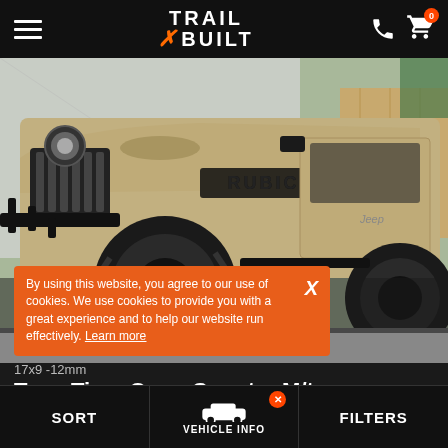Trail Built — navigation header with hamburger menu, logo, phone icon, and cart icon
[Figure (photo): A tan/sand colored Jeep Gladiator Rubicon with large off-road mud terrain tires, black wheels, and a front brush guard, photographed in a parking lot]
By using this website, you agree to our use of cookies. We use cookies to provide you with a great experience and to help our website run effectively. Learn more
17x9 -12mm
Toyo Tires Open Country M/t
SORT   VEHICLE INFO   FILTERS